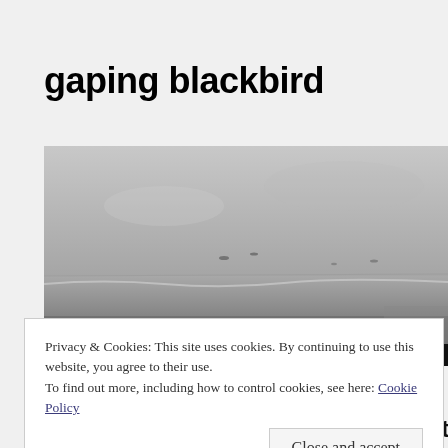gaping blackbird
[Figure (photo): A blurry outdoor photograph showing a grey sky and a flat horizon, likely a beach or coastal scene with indistinct elements in the foreground.]
Privacy & Cookies: This site uses cookies. By continuing to use this website, you agree to their use.
To find out more, including how to control cookies, see here: Cookie Policy
Close and accept
two Rudyard Kipling stories about techno